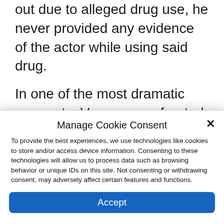out due to alleged drug use, he never provided any evidence of the actor while using said drug.
In one of the most dramatic moments, Vasquez confronted Heard with the fact that during the divorce settlement, he had announced that all the money he received would be donated entirely to two nonprofit
Manage Cookie Consent
To provide the best experiences, we use technologies like cookies to store and/or access device information. Consenting to these technologies will allow us to process data such as browsing behavior or unique IDs on this site. Not consenting or withdrawing consent, may adversely affect certain features and functions.
Accept